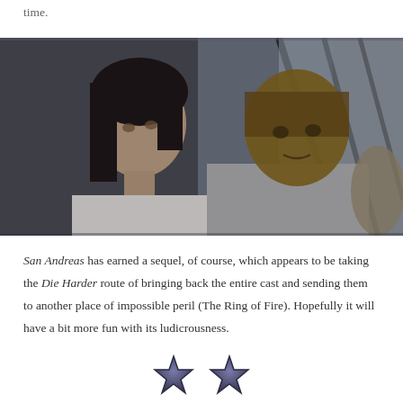time.
[Figure (photo): Two actors, a woman with dark hair and a muscular man in a grey t-shirt, looking forward intently through large windows, in a scene from the movie San Andreas.]
San Andreas has earned a sequel, of course, which appears to be taking the Die Harder route of bringing back the entire cast and sending them to another place of impossible peril (The Ring of Fire). Hopefully it will have a bit more fun with its ludicrousness.
[Figure (illustration): Two dark star rating icons, partially cropped at the bottom of the page.]